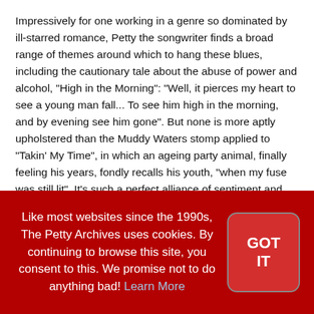Impressively for one working in a genre so dominated by ill-starred romance, Petty the songwriter finds a broad range of themes around which to hang these blues, including the cautionary tale about the abuse of power and alcohol, "High in the Morning": "Well, it pierces my heart to see a young man fall... To see him high in the morning, and by evening see him gone". But none is more aptly upholstered than the Muddy Waters stomp applied to "Takin' My Time", in which an ageing party animal, finally feeling his years, fondly recalls his youth, "when my fuse was still lit". It's such a perfect alliance of sentiment and setting that Muddy himself might have penned it.
Like most websites since the 1990s, The Petty Archives uses cookies. By continuing to browse this site, you consent to this. We promise not to do anything bad! Learn More